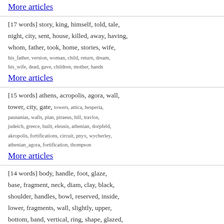More articles (top link)
[17 words] story, king, himself, told, tale, night, city, sent, house, killed, away, having, whom, father, took, home, stories, wife, his_father, version, woman, child, return, dream, his_wife, dead, gave, children, mother, hands
More articles
[15 words] athens, acropolis, agora, wall, tower, city, gate, towers, attica, hesperia, pausanias, walls, plan, piraeus, hill, travlos, judeich, greece, built, eleusis, athenian, dorpfeld, akropolis, fortifications, circuit, pnyx, wycherley, athenian_agora, fortification, thompson
More articles
[14 words] body, handle, foot, glaze, base, fragment, neck, diam, clay, black, shoulder, handles, bowl, reserved, inside, lower, fragments, wall, slightly, upper, bottom, band, vertical, ring, shape, glazed, flat, interior, horizontal, diameter
More articles